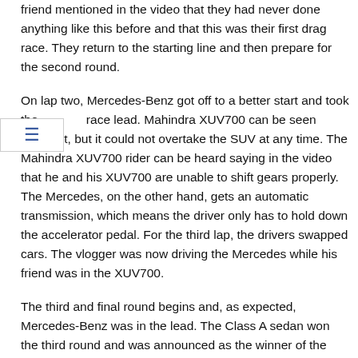friend mentioned in the video that they had never done anything like this before and that this was their first drag race. They return to the starting line and then prepare for the second round.
On lap two, Mercedes-Benz got off to a better start and took the race lead. Mahindra XUV700 can be seen behind it, but it could not overtake the SUV at any time. The Mahindra XUV700 rider can be heard saying in the video that he and his XUV700 are unable to shift gears properly. The Mercedes, on the other hand, gets an automatic transmission, which means the driver only has to hold down the accelerator pedal. For the third lap, the drivers swapped cars. The vlogger was now driving the Mercedes while his friend was in the XUV700.
The third and final round begins and, as expected, Mercedes-Benz was in the lead. The Class A sedan won the third round and was announced as the winner of the race. There were several reasons why Mercedes-Benz won the race even though it was competing against a much more powerful vehicle. The Mahindra XUV700 petrol